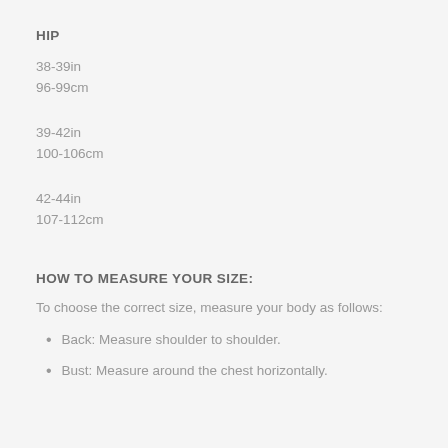HIP
38-39in
96-99cm
39-42in
100-106cm
42-44in
107-112cm
HOW TO MEASURE YOUR SIZE:
To choose the correct size, measure your body as follows:
Back: Measure shoulder to shoulder.
Bust: Measure around the chest horizontally.